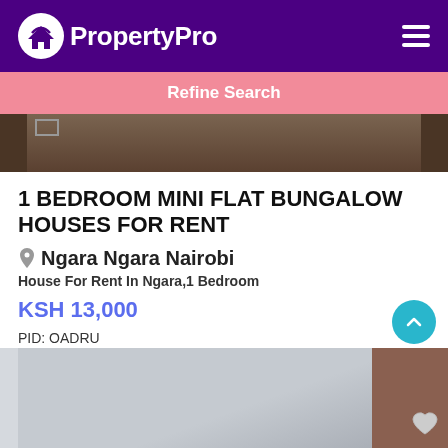PropertyPro
Refine Search
[Figure (photo): Top portion of a property interior photo, dark/dim interior]
1 BEDROOM MINI FLAT BUNGALOW HOUSES FOR RENT
Ngara Ngara Nairobi
House For Rent In Ngara,1 Bedroom
KSH 13,000
PID: OADRU
1 beds   1 baths   1 Toilets
[Figure (photo): Bottom portion of another property listing photo, light grey interior ceiling/wall]